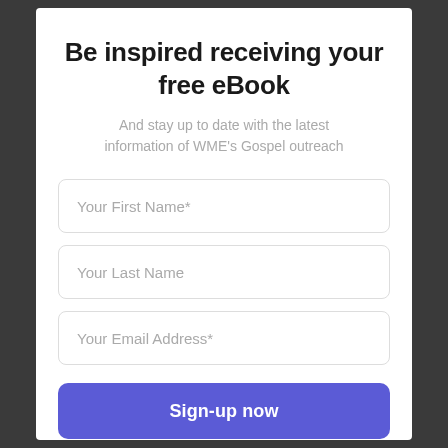Be inspired receiving your free eBook
And stay up to date with the latest information of WME's Gospel outreach
Your First Name*
Your Last Name
Your Email Address*
Sign-up now
Powered by Viral Loops